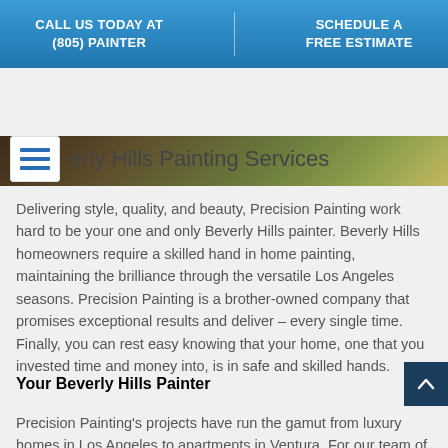CALL US TODAY AT (805) PAINTER | SCHEDULE A FREE ESTIMATE
[Figure (photo): Landscape/hero image strip showing dark wood and green grass]
Beverly Hills Painting Services
Delivering style, quality, and beauty, Precision Painting work hard to be your one and only Beverly Hills painter. Beverly Hills homeowners require a skilled hand in home painting, maintaining the brilliance through the versatile Los Angeles seasons. Precision Painting is a brother-owned company that promises exceptional results and deliver – every single time. Finally, you can rest easy knowing that your home, one that you invested time and money into, is in safe and skilled hands.
Your Beverly Hills Painter
Precision Painting's projects have run the gamut from luxury homes in Los Angeles to apartments in Ventura. For our team of experts there is no challenge too big or small. Servicing